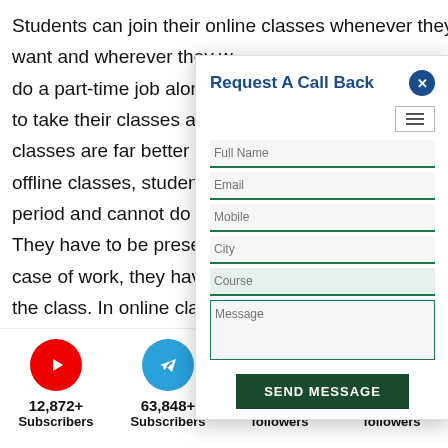Students can join their online classes whenever they want and wherever they w... do a part-time job along w... to take their classes at ni... classes are far better tha... offline classes, students c... period and cannot do any... They have to be present c... case of work, they have no... the class. In online classes... options from live online cl... and they can choose as p...
[Figure (screenshot): Request A Call Back modal form with fields: Full Name, Email, Mobile, City, Course, Message, and a SEND MESSAGE button]
[Figure (infographic): Social media stats: YouTube 12,872+ Subscribers, Telegram 63,848+ Subscribers, Instagram 57,750+ followers, Facebook 60,099+ followers]